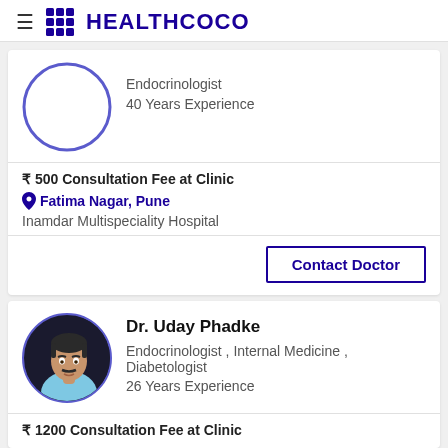HEALTHCOCO
[Figure (photo): Empty circular doctor profile placeholder with blue border]
Endocrinologist
40 Years Experience
₹ 500 Consultation Fee at Clinic
Fatima Nagar, Pune
Inamdar Multispeciality Hospital
Contact Doctor
[Figure (photo): Photo of Dr. Uday Phadke, a middle-aged man in a light blue shirt, circular crop]
Dr. Uday Phadke
Endocrinologist , Internal Medicine , Diabetologist
26 Years Experience
₹ 1200 Consultation Fee at Clinic